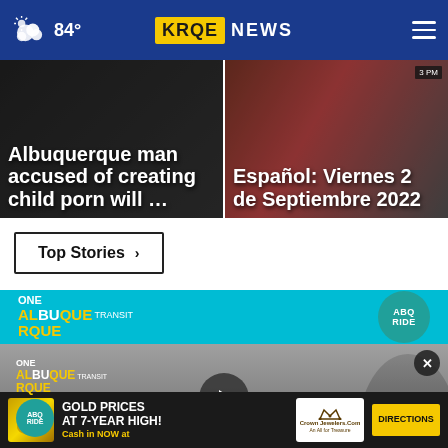84° KRQE NEWS
Albuquerque man accused of creating child porn will …
Español: Viernes 2 de Septiembre 2022
Top Stories ›
[Figure (screenshot): One Albuquerque Transit ABQ Ride advertisement banner with video thumbnail showing a person and play button]
GOLD PRICES AT 7-YEAR HIGH! Cash in NOW at  Crown Jewelers  DIRECTIONS